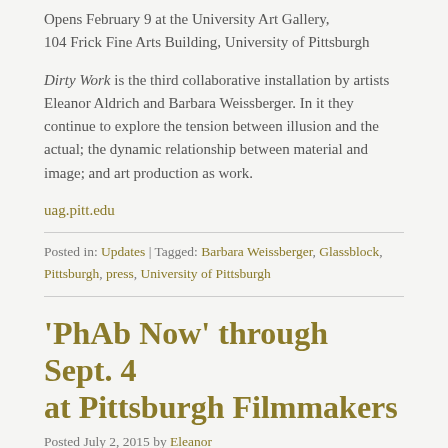Opens February 9 at the University Art Gallery, 104 Frick Fine Arts Building, University of Pittsburgh
Dirty Work is the third collaborative installation by artists Eleanor Aldrich and Barbara Weissberger. In it they continue to explore the tension between illusion and the actual; the dynamic relationship between material and image; and art production as work.
uag.pitt.edu
Posted in: Updates | Tagged: Barbara Weissberger, Glassblock, Pittsburgh, press, University of Pittsburgh
'PhAb Now' through Sept. 4 at Pittsburgh Filmmakers
Posted July 2, 2015 by Eleanor